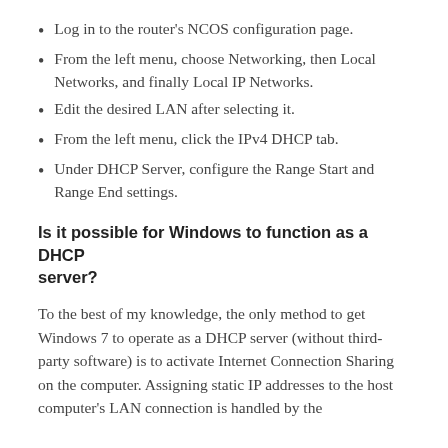Log in to the router's NCOS configuration page.
From the left menu, choose Networking, then Local Networks, and finally Local IP Networks.
Edit the desired LAN after selecting it.
From the left menu, click the IPv4 DHCP tab.
Under DHCP Server, configure the Range Start and Range End settings.
Is it possible for Windows to function as a DHCP server?
To the best of my knowledge, the only method to get Windows 7 to operate as a DHCP server (without third-party software) is to activate Internet Connection Sharing on the computer. Assigning static IP addresses to the host computer's LAN connection is handled by the